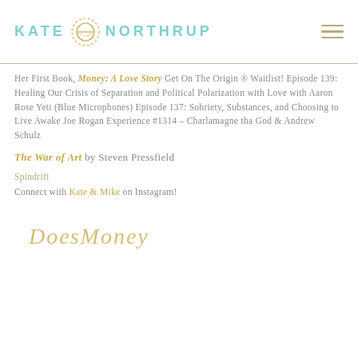KATE NORTHRUP
Her First Book, Money: A Love Story Get On The Origin ® Waitlist! Episode 139: Healing Our Crisis of Separation and Political Polarization with Love with Aaron Rose Yeti (Blue Microphones) Episode 137: Sobriety, Substances, and Choosing to Live Awake Joe Rogan Experience #1314 – Charlamagne tha God & Andrew Schulz
The War of Art by Steven Pressfield
Spindrift
Connect with Kate & Mike on Instagram!
D...M...i...